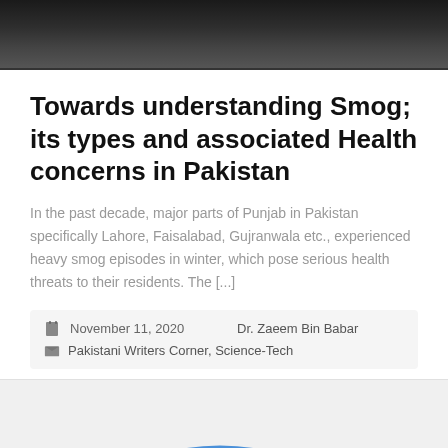[Figure (photo): Dark smoggy landscape photo at top of page]
Towards understanding Smog; its types and associated Health concerns in Pakistan
In the past decade, major parts of Punjab in Pakistan specifically Lahore, Faisalabad, Gujranwala etc., experienced heavy smog episodes in winter, which pose serious health threats to their residents. The [...]
November 11, 2020   Dr. Zaeem Bin Babar   Pakistani Writers Corner, Science-Tech
[Figure (illustration): Light gray card with blue arc and heart emoji illustration at bottom of page]